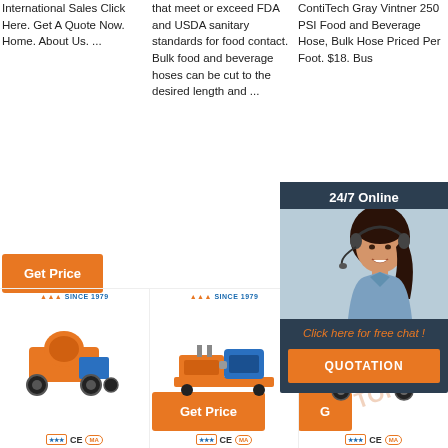International Sales Click Here. Get A Quote Now. Home. About Us. ...
Get Price
that meet or exceed FDA and USDA sanitary standards for food contact. Bulk food and beverage hoses can be cut to the desired length and ...
Get Price
ContiTech Gray Vintner 250 PSI Food and Beverage Hose, Bulk Hose Priced Per Foot. $18. Bus
G
[Figure (infographic): Chat overlay widget with woman wearing headset, '24/7 Online' header, 'Click here for free chat!' text, and orange QUOTATION button]
[Figure (photo): Orange and blue wheeled concrete mixer machine with company logo, CE and MA certifications]
[Figure (photo): Orange hydraulic pump station machine with blue motor, company logo, CE and MA certifications]
[Figure (photo): Yellow and black mortar spraying machine, company logo, CE and MA certifications, TOP watermark]